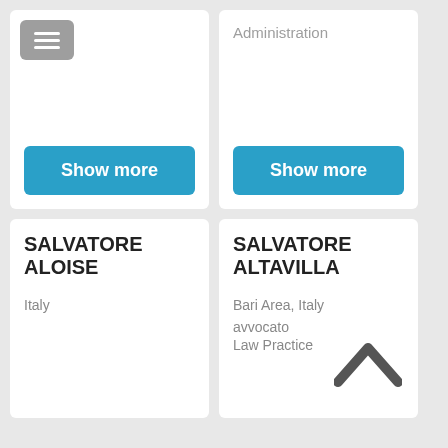[Figure (screenshot): Top-left card with hamburger menu button and Show more blue button]
Administration
Show more
Show more
SALVATORE ALOISE
Italy
SALVATORE ALTAVILLA
Bari Area, Italy
avvocato
Law Practice